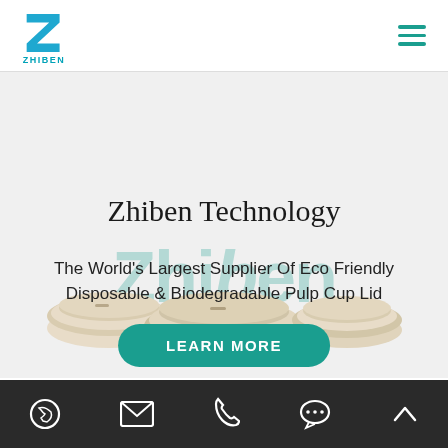[Figure (logo): Zhiben company logo: blue stylized Z shape in a square, with text ZHIBEN below in teal]
Zhiben Technology
The World's Largest Supplier Of Eco Friendly Disposable & Biodegradable Pulp Cup Lid
[Figure (photo): Three beige/cream colored biodegradable pulp cup lids of varying sizes arranged on a light gray background, with teal watermark text 'Zhiben' overlaid]
LEARN MORE
WhatsApp | Email | Phone | Chat | Scroll Up